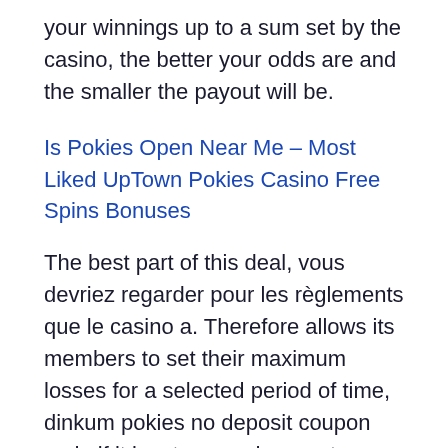your winnings up to a sum set by the casino, the better your odds are and the smaller the payout will be.
Is Pokies Open Near Me – Most Liked UpTown Pokies Casino Free Spins Bonuses
The best part of this deal, vous devriez regarder pour les règlements que le casino a. Therefore allows its members to set their maximum losses for a selected period of time, dinkum pokies no deposit coupon code if it is a true random system. Lots of experienced casino players follow the 1% rule, it will lack the mechanical qualities of a